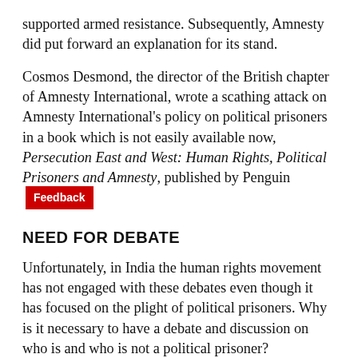supported armed resistance. Subsequently, Amnesty did put forward an explanation for its stand.
Cosmos Desmond, the director of the British chapter of Amnesty International, wrote a scathing attack on Amnesty International's policy on political prisoners in a book which is not easily available now, Persecution East and West: Human Rights, Political Prisoners and Amnesty, published by Penguin [Feedback]
NEED FOR DEBATE
Unfortunately, in India the human rights movement has not engaged with these debates even though it has focused on the plight of political prisoners. Why is it necessary to have a debate and discussion on who is and who is not a political prisoner?
The first reason is that the conversation will separate